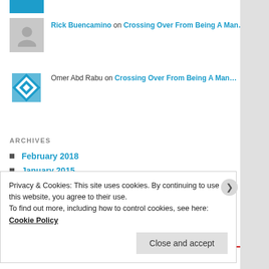[Figure (logo): Teal logo icon at top]
Rick Buencamino on Crossing Over From Being A Man…
[Figure (photo): Gray silhouette avatar for Rick Buencamino]
Omer Abd Rabu on Crossing Over From Being A Man…
[Figure (illustration): Blue geometric pattern avatar for Omer Abd Rabu]
ARCHIVES
February 2018
January 2015
October 2014
September 2014
July 2014
January 2014
Privacy & Cookies: This site uses cookies. By continuing to use this website, you agree to their use.
To find out more, including how to control cookies, see here: Cookie Policy
Close and accept